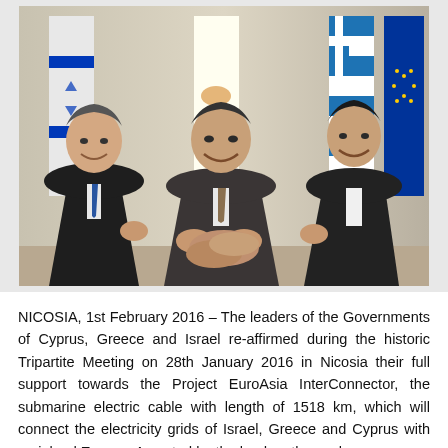[Figure (photo): Three political leaders smiling and shaking hands together in a three-way handshake. Flags of Israel, Cyprus, Greece, and the EU are visible in the background. The leaders represent the Governments of Cyprus, Greece, and Israel.]
NICOSIA, 1st February 2016 – The leaders of the Governments of Cyprus, Greece and Israel re-affirmed during the historic Tripartite Meeting on 28th January 2016 in Nicosia their full support towards the Project EuroAsia InterConnector, the submarine electric cable with length of 1518 km, which will connect the electricity grids of Israel, Greece and Cyprus with mainland Europe. As noted by the leaders themselves